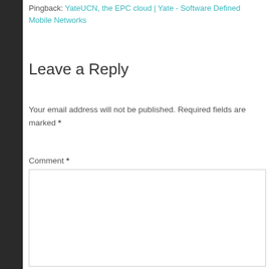Pingback: YateUCN, the EPC cloud | Yate - Software Defined Mobile Networks
Leave a Reply
Your email address will not be published. Required fields are marked *
Comment *